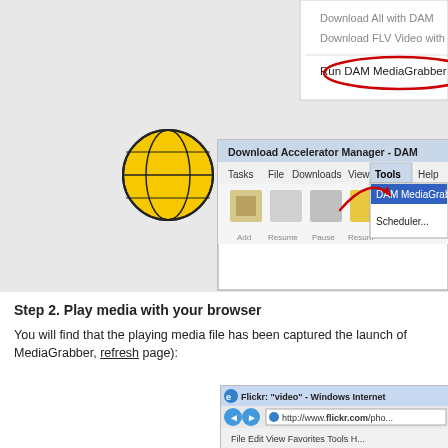[Figure (screenshot): Screenshot showing a context menu with 'Download All with DAM', 'Download FLV Video with DAM', and 'Run DAM MediaGrabber' options (the last one circled in red), and below it the Download Accelerator Manager - DAM application window with the Tools menu open showing 'DAM MediaGrabber' and 'Scheduler...' options]
Step 2. Play media with your browser
You will find that the playing media file has been captured the launch of MediaGrabber, refresh page):
[Figure (screenshot): Bottom screenshot showing Flickr: 'video' - Windows Internet Explorer browser window with address bar showing http://www.flickr.com/pho... and menu bar with File, Edit, View, Favorites, Tools, H...]